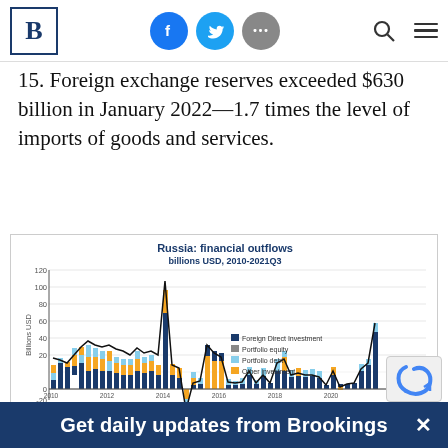B [Brookings logo] — social icons (Facebook, Twitter, More), Search, Menu
15. Foreign exchange reserves exceeded $630 billion in January 2022—1.7 times the level of imports of goods and services.
[Figure (stacked-bar-chart): Stacked bar chart with line overlay showing Russia financial outflows in billions USD from 2010 to 2021Q3. Components: Foreign Direct Investment (dark navy), Portfolio equity (gray), Portfolio debt (light blue), Other investment (orange). Line shows total. Values range from about -65 to 105 billion USD.]
Get daily updates from Brookings